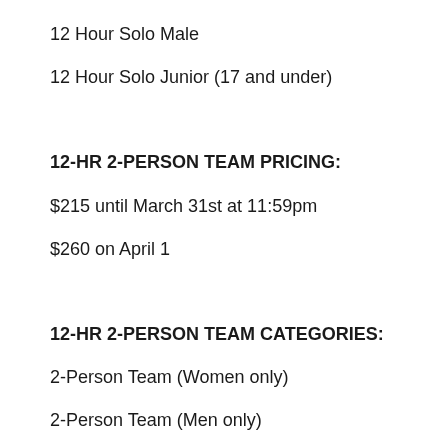12 Hour Solo Male
12 Hour Solo Junior (17 and under)
12-HR 2-PERSON TEAM PRICING:
$215 until March 31st at 11:59pm
$260 on April 1
12-HR 2-PERSON TEAM CATEGORIES:
2-Person Team (Women only)
2-Person Team (Men only)
2-Person Team (Co-Ed Pair)